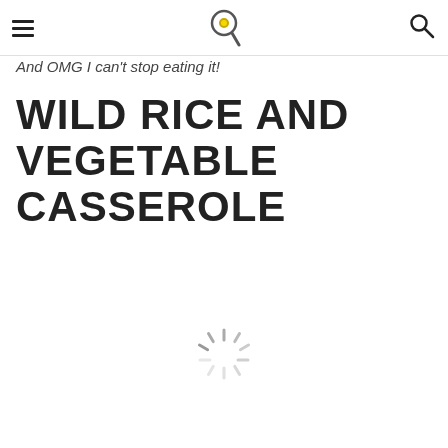Delicious Wild Rice and Vegetable Casserole
And OMG I can't stop eating it!
WILD RICE AND VEGETABLE CASSEROLE
[Figure (other): Loading spinner / throbber icon in the center-bottom area of the page]